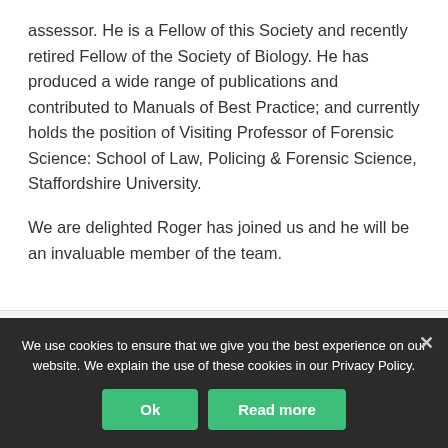assessor. He is a Fellow of this Society and recently retired Fellow of the Society of Biology. He has produced a wide range of publications and contributed to Manuals of Best Practice; and currently holds the position of Visiting Professor of Forensic Science: School of Law, Policing & Forensic Science, Staffordshire University.
We are delighted Roger has joined us and he will be an invaluable member of the team.
We use cookies to ensure that we give you the best experience on our website. We explain the use of these cookies in our Privacy Policy.